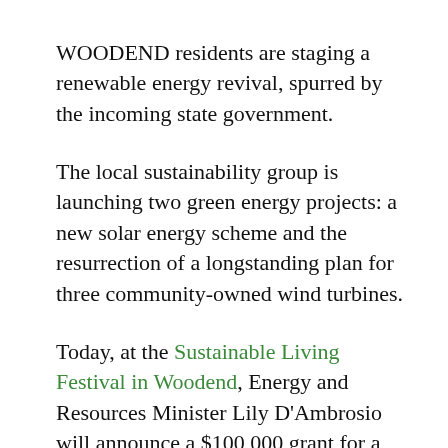WOODEND residents are staging a renewable energy revival, spurred by the incoming state government.
The local sustainability group is launching two green energy projects: a new solar energy scheme and the resurrection of a longstanding plan for three community-owned wind turbines.
Today, at the Sustainable Living Festival in Woodend, Energy and Resources Minister Lily D'Ambrosio will announce a $100,000 grant for a 30-kilowatt solar farm.
The panels will be installed at the old timber mill, where the tenants' ongoing electricity bills will be